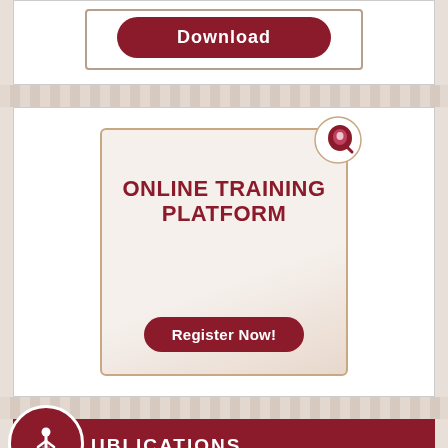[Figure (other): Download button with rounded dark red background inside a bordered box]
[Figure (infographic): Online Training Platform promotional card with logo icon, title text, and Register Now button]
UBLICATIONS